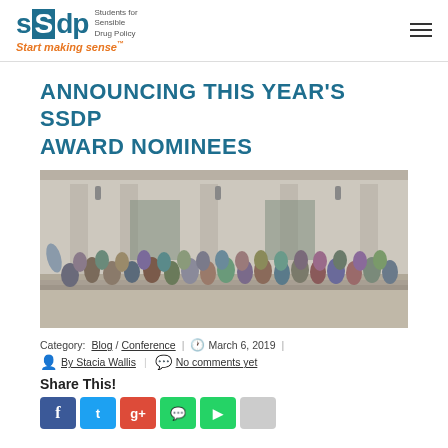ssdp Students for Sensible Drug Policy | Start making sense™
ANNOUNCING THIS YEAR'S SSDP AWARD NOMINEES
[Figure (photo): Large group photo of SSDP members standing on steps in front of a classical stone building]
Category: Blog/Conference | March 6, 2019 | By Stacia Wallis | No comments yet
Share This!